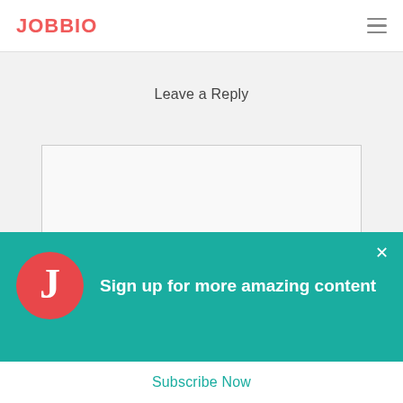JOBBIO
Leave a Reply
[Figure (screenshot): Empty text area input box with light border on grey background]
[Figure (infographic): Teal popup banner with red circle J logo, text 'Sign up for more amazing content', X close button, and white Subscribe Now bar at bottom]